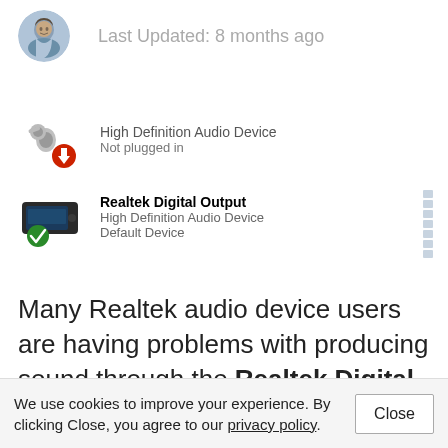[Figure (photo): User avatar photo of a person outdoors, circular crop]
Last Updated: 8 months ago
[Figure (illustration): Speaker/headphone icon with a red downward arrow overlay indicating not plugged in status]
High Definition Audio Device
Not plugged in
[Figure (illustration): Small black device icon with a green checkmark overlay indicating default device]
Realtek Digital Output
High Definition Audio Device
Default Device
Many Realtek audio device users are having problems with producing sound through the Realtek Digital Output. When it is set as
We use cookies to improve your experience. By clicking Close, you agree to our privacy policy.